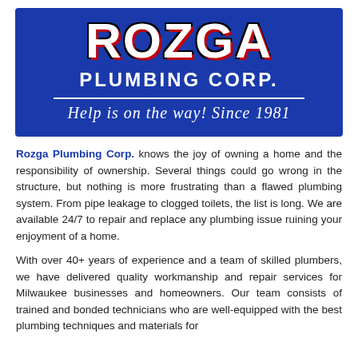[Figure (logo): Rozga Plumbing Corp. logo on a dark blue background. Large bold white text 'ROZGA' with red shadow effect, below it 'PLUMBING CORP.' in white bold caps, a horizontal white divider line, and italic script tagline 'Help is on the way! Since 1981']
Rozga Plumbing Corp. knows the joy of owning a home and the responsibility of ownership. Several things could go wrong in the structure, but nothing is more frustrating than a flawed plumbing system. From pipe leakage to clogged toilets, the list is long. We are available 24/7 to repair and replace any plumbing issue ruining your enjoyment of a home.
With over 40+ years of experience and a team of skilled plumbers, we have delivered quality workmanship and repair services for Milwaukee businesses and homeowners. Our team consists of trained and bonded technicians who are well-equipped with the best plumbing techniques and materials for